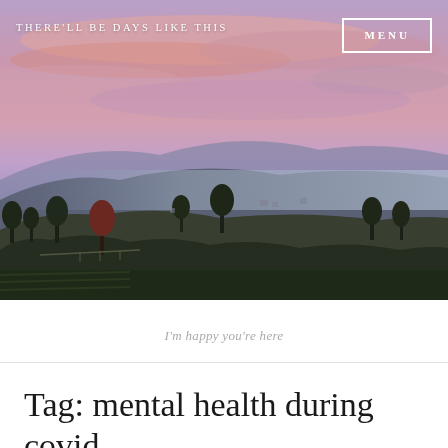[Figure (photo): Aerial landscape photo of a misty hillside with trees and buildings at dusk, with a dramatic pink and purple sky with clouds.]
THERE'LL BE DAYS LIKE THIS
MENU
I'm happy you're here
Tag: mental health during covid